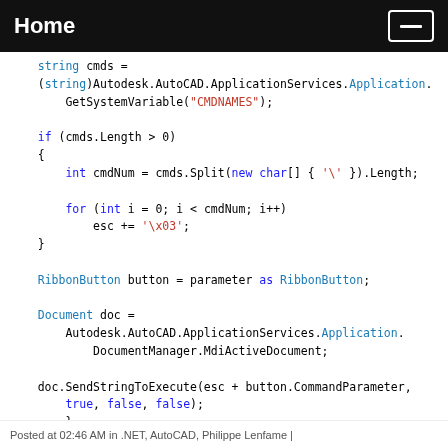Home
string cmds =
(string)Autodesk.AutoCAD.ApplicationServices.Application.
    GetSystemVariable("CMDNAMES");

if (cmds.Length > 0)
{
    int cmdNum = cmds.Split(new char[] { '\' }).Length;

    for (int i = 0; i < cmdNum; i++)
        esc += '\x03';
}

RibbonButton button = parameter as RibbonButton;

Document doc =
    Autodesk.AutoCAD.ApplicationServices.Application.
        DocumentManager.MdiActiveDocument;

doc.SendStringToExecute(esc + button.CommandParameter,
    true, false, false);
    }
  }
}
Posted at 02:46 AM in .NET, AutoCAD, Philippe Lenfame |